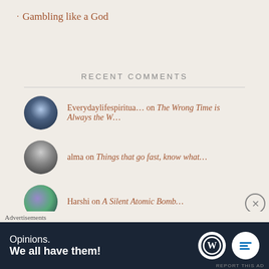Gambling like a God
RECENT COMMENTS
Everydaylifespiritua… on The Wrong Time is Always the W…
alma on Things that go fast, know what…
Harshi on A Silent Atomic Bomb…
Aish on Things that go fast, know what…
Advertisements
[Figure (screenshot): WordPress advertisement banner: 'Opinions. We all have them!' with WordPress and Begin Now logos on dark navy background]